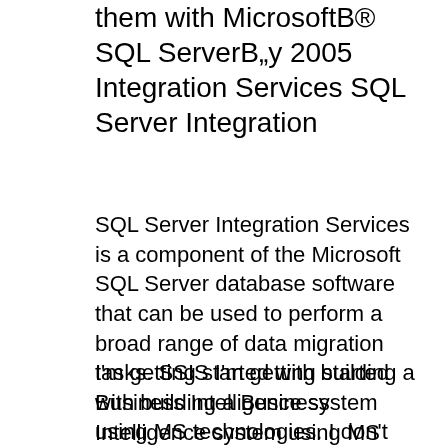them with MicrosoftВ® SQL ServerВ„y 2005 Integration Services SQL Server Integration
SQL Server Integration Services is a component of the Microsoft SQL Server database software that can be used to perform a broad range of data migration tasks. SSIS I'm getting started with building a Business Intelligence system using MS technologies. I don't have any experience with Integration Services or with Analysis
I'm getting started with building a Business Intelligence system using MS technologies. I don't have any experience with Integration Services or